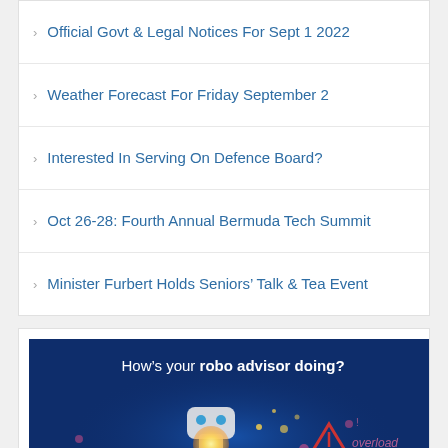Official Govt & Legal Notices For Sept 1 2022
Weather Forecast For Friday September 2
Interested In Serving On Defence Board?
Oct 26-28: Fourth Annual Bermuda Tech Summit
Minister Furbert Holds Seniors' Talk & Tea Event
[Figure (advertisement): BIAS WealthBuilder advertisement featuring a robot with text 'How's your robo advisor doing?' and an overload warning graphic on a dark blue background, with BIAS and WealthBuilder logos at the bottom.]